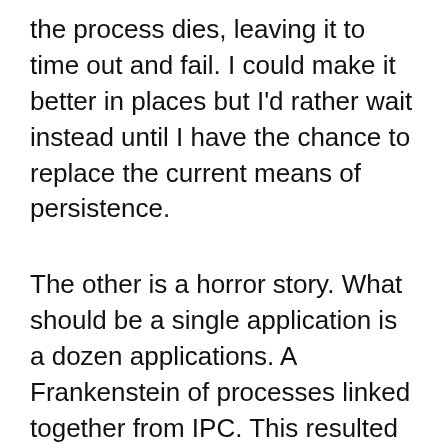the process dies, leaving it to time out and fail. I could make it better in places but I'd rather wait instead until I have the chance to replace the current means of persistence.
The other is a horror story. What should be a single application is a dozen applications. A Frankenstein of processes linked together from IPC. This resulted from many things, importing things from other applications, developers each doing their own thing in their own language, extreme deadlines and so on. There are a few methods for IPC, nearly all various network processes that aren't particularly